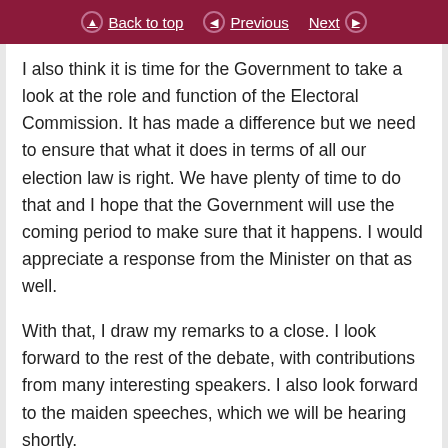Back to top | Previous | Next
I also think it is time for the Government to take a look at the role and function of the Electoral Commission. It has made a difference but we need to ensure that what it does in terms of all our election law is right. We have plenty of time to do that and I hope that the Government will use the coming period to make sure that it happens. I would appreciate a response from the Minister on that as well.
With that, I draw my remarks to a close. I look forward to the rest of the debate, with contributions from many interesting speakers. I also look forward to the maiden speeches, which we will be hearing shortly.